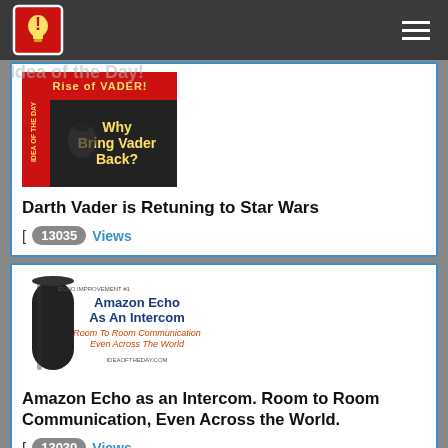Idea of the Day! [logo] [hamburger menu]
Idea of the Day!
[Figure (screenshot): Video thumbnail showing 'Rise of VADER!' with text 'Why Bring Vader Back?' on a dark background with Star Wars imagery]
Darth Vader is Retuning to Star Wars
[ 13035 Views
[Figure (screenshot): Amazon Echo device (black cylinder) next to text: 'ECHO IMPROVEMENT #1 - Amazon Echo As An Intercom - Room To Room Communication Even Across The World - IDEAOFTHEDAY.COM']
Amazon Echo as an Intercom. Room to Room Communication, Even Across the World.
[ 13030 Views